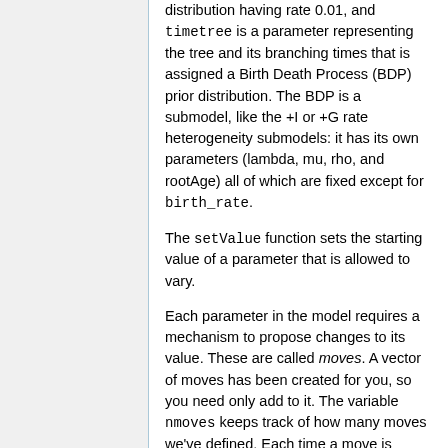distribution having rate 0.01, and timetree is a parameter representing the tree and its branching times that is assigned a Birth Death Process (BDP) prior distribution. The BDP is a submodel, like the +I or +G rate heterogeneity submodels: it has its own parameters (lambda, mu, rho, and rootAge) all of which are fixed except for birth_rate.
The setValue function sets the starting value of a parameter that is allowed to vary.
Each parameter in the model requires a mechanism to propose changes to its value. These are called moves. A vector of moves has been created for you, so you need only add to it. The variable nmoves keeps track of how many moves we've defined. Each time a move is